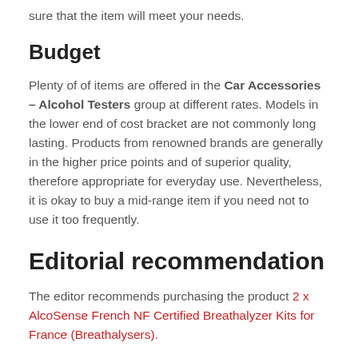sure that the item will meet your needs.
Budget
Plenty of of items are offered in the Car Accessories – Alcohol Testers group at different rates. Models in the lower end of cost bracket are not commonly long lasting. Products from renowned brands are generally in the higher price points and of superior quality, therefore appropriate for everyday use. Nevertheless, it is okay to buy a mid-range item if you need not to use it too frequently.
Editorial recommendation
The editor recommends purchasing the product 2 x AlcoSense French NF Certified Breathalyzer Kits for France (Breathalysers).